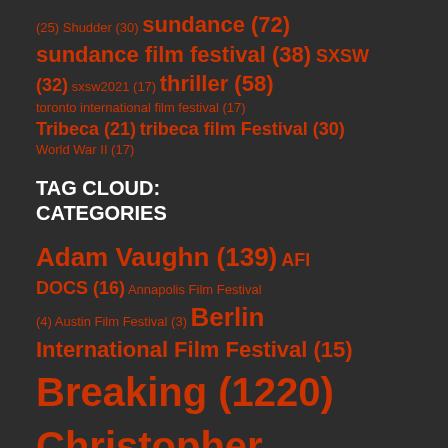(25) Shudder (30) sundance (72) sundance film festival (38) SXSW (32) sxsw2021 (17) thriller (58) toronto international film festival (17) Tribeca (21) tribeca film Festival (30) World War II (17)
TAG CLOUD: CATEGORIES
Adam Vaughn (139) AFI DOCS (16) Annapolis Film Festival (4) Austin Film Festival (3) Berlin International Film Festival (15) Breaking (1220) Christopher